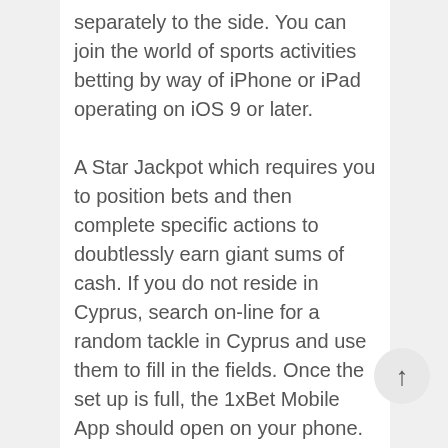separately to the side. You can join the world of sports activities betting by way of iPhone or iPad operating on iOS 9 or later. A Star Jackpot which requires you to position bets and then complete specific actions to doubtlessly earn giant sums of cash. If you do not reside in Cyprus, search on-line for a random tackle in Cyprus and use them to fill in the fields. Once the set up is full, the 1xBet Mobile App should open on your phone. If you didn't toggle on FileBrowser from step 4 in the earlier section, you will obtain one other pop-up saying your phone is not allowed to install